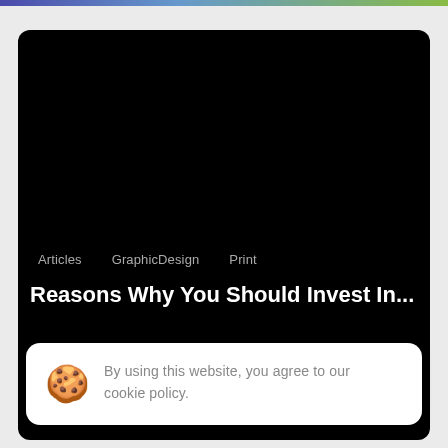[Figure (screenshot): Black video/media card with rounded corners on a light gray background, with a thin blue-to-green gradient bar at the top of the page.]
Articles    GraphicDesign    Print
Reasons Why You Should Invest In...
By using this website, you agree to our cookie policy.